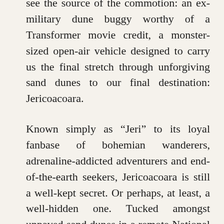see the source of the commotion: an ex-military dune buggy worthy of a Transformer movie credit, a monster-sized open-air vehicle designed to carry us the final stretch through unforgiving sand dunes to our final destination: Jericoacoara.
Known simply as “Jeri” to its loyal fanbase of bohemian wanderers, adrenaline-addicted adventurers and end-of-the-earth seekers, Jericoacoara is still a well-kept secret. Or perhaps, at least, a well-hidden one. Tucked amongst unpaved sand dunes in a remote National Park in the far reaches of Northern Brazil, it’s not the kind of place you simply stumble upon.